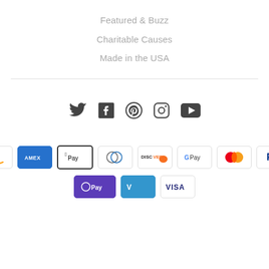Featured & Buzz
Charitable Causes
Made in the USA
[Figure (infographic): Social media icons: Twitter, Facebook, Pinterest, Instagram, YouTube]
[Figure (infographic): Payment method icons: Amazon, Amex, Apple Pay, Diners Club, Discover, Google Pay, Mastercard, PayPal, OPay, Venmo, Visa]